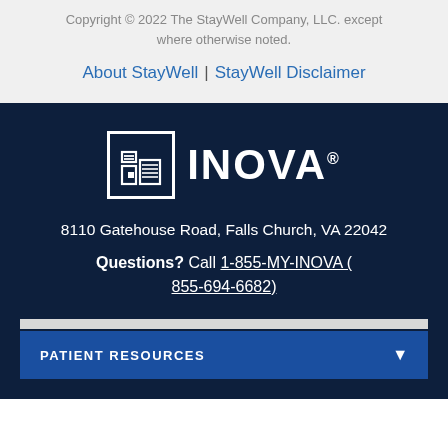Copyright © 2022 The StayWell Company, LLC. except where otherwise noted.
About StayWell | StayWell Disclaimer
[Figure (logo): Inova Health System logo: a white square border with stylized hospital icon inside, followed by the word INOVA with registered trademark symbol]
8110 Gatehouse Road, Falls Church, VA 22042
Questions? Call 1-855-MY-INOVA (855-694-6682)
PATIENT RESOURCES